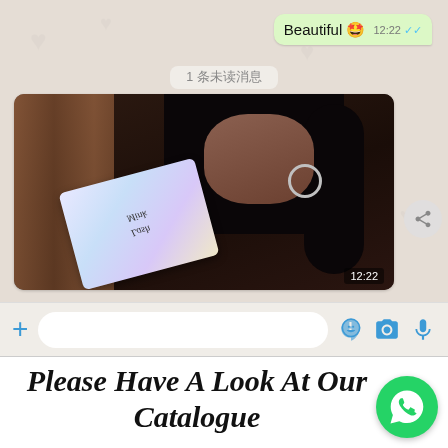[Figure (screenshot): WhatsApp chat screenshot showing a sent message bubble with text 'Beautiful 🤩' at 12:22 with blue double checkmarks, an unread messages divider reading '1 条未读消息', a received photo message showing a woman holding a product card at 12:22, a WhatsApp input bar with plus icon, text field, sticker, camera and microphone icons]
Please Have A Look At Our Catalogue
[Figure (logo): WhatsApp green circle logo icon]